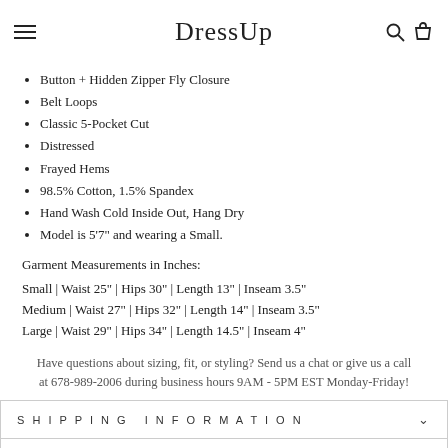DressUp
Button + Hidden Zipper Fly Closure
Belt Loops
Classic 5-Pocket Cut
Distressed
Frayed Hems
98.5% Cotton, 1.5% Spandex
Hand Wash Cold Inside Out, Hang Dry
Model is 5'7" and wearing a Small.
Garment Measurements in Inches:
Small | Waist 25" | Hips 30" | Length 13" | Inseam 3.5"
Medium | Waist 27" | Hips 32" | Length 14" | Inseam 3.5"
Large | Waist 29" | Hips 34" | Length 14.5" | Inseam 4"
Have questions about sizing, fit, or styling? Send us a chat or give us a call at 678-989-2006 during business hours 9AM - 5PM EST Monday-Friday!
SHIPPING INFORMATION
HAVE QUESTIONS ABOUT SIZING, FIT, OR STYLING